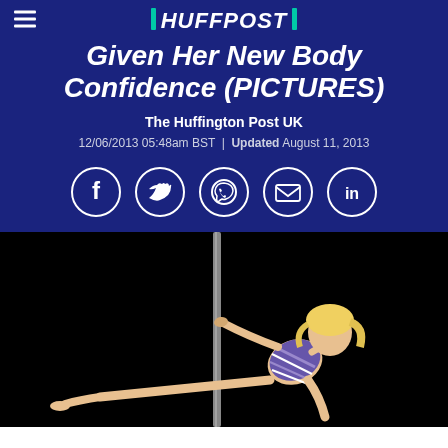HUFFPOST
Given Her New Body Confidence (PICTURES)
The Huffington Post UK
12/06/2013 05:48am BST | Updated August 11, 2013
[Figure (other): Social media sharing icons: Facebook, Twitter, WhatsApp, Email, LinkedIn]
[Figure (photo): Woman performing pole dancing against a black background, wearing a striped outfit, with blonde hair, one leg extended outward while gripping a metal pole]